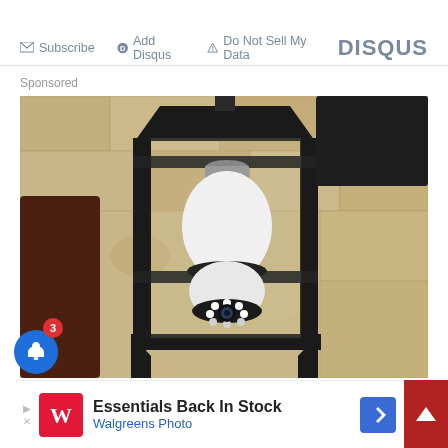Subscribe   Add Disqus   Do Not Sell My Data   DISQUS
Sponsored
[Figure (photo): A wall-mounted outdoor lantern-style light fixture with a white smart security camera bulb installed inside it. The camera has a circular lens array with LED lights. The fixture is black metal and the wall is textured stucco.]
Essentials Back In Stock
Walgreens Photo